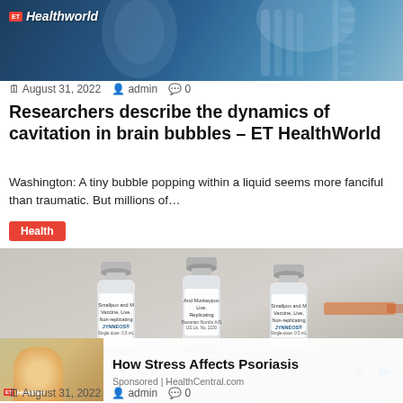[Figure (photo): ET HealthWorld header banner with medical/skeletal X-ray imagery on blue background]
ET HealthWorld
August 31, 2022  admin  0
Researchers describe the dynamics of cavitation in brain bubbles – ET HealthWorld
Washington: A tiny bubble popping within a liquid seems more fanciful than traumatic. But millions of…
Health
[Figure (photo): Three smallpox and monkeypox vaccine vials (JNNEOS) on grey background with syringe partially visible]
[Figure (photo): Sponsored ad thumbnail: woman in yellow sweater scratching arm, representing How Stress Affects Psoriasis]
How Stress Affects Psoriasis
Sponsored | HealthCentral.com
August 31, 2022  admin  0